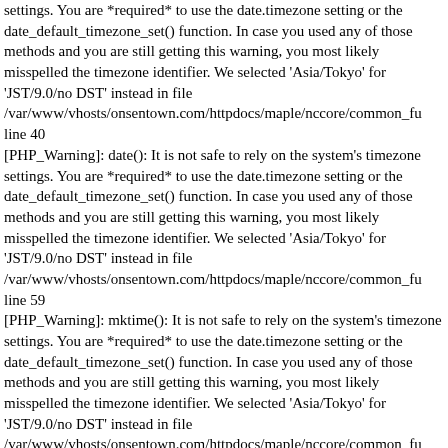settings. You are *required* to use the date.timezone setting or the date_default_timezone_set() function. In case you used any of those methods and you are still getting this warning, you most likely misspelled the timezone identifier. We selected 'Asia/Tokyo' for 'JST/9.0/no DST' instead in file /var/www/vhosts/onsentown.com/httpdocs/maple/nccore/common_fu line 40
[PHP_Warning]: date(): It is not safe to rely on the system's timezone settings. You are *required* to use the date.timezone setting or the date_default_timezone_set() function. In case you used any of those methods and you are still getting this warning, you most likely misspelled the timezone identifier. We selected 'Asia/Tokyo' for 'JST/9.0/no DST' instead in file /var/www/vhosts/onsentown.com/httpdocs/maple/nccore/common_fu line 59
[PHP_Warning]: mktime(): It is not safe to rely on the system's timezone settings. You are *required* to use the date.timezone setting or the date_default_timezone_set() function. In case you used any of those methods and you are still getting this warning, you most likely misspelled the timezone identifier. We selected 'Asia/Tokyo' for 'JST/9.0/no DST' instead in file /var/www/vhosts/onsentown.com/httpdocs/maple/nccore/common_fu line 88
[PHP_Warning]: date(): It is not safe to rely on the system's timezone settings. You are *required* to use the date.timezone setting or the